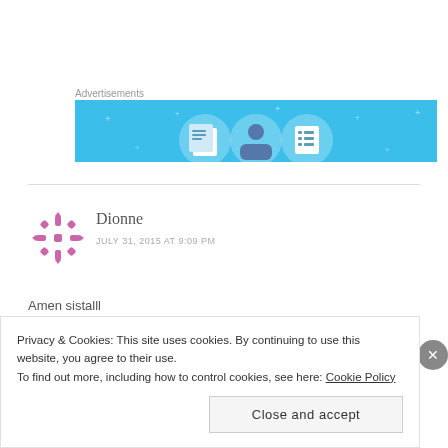Advertisements
[Figure (illustration): Advertisement banner with light blue background showing three circular icons: a notebook/document, a person figure, and a list/checklist, with decorative sparkle/star elements]
Dionne
JULY 31, 2015 AT 9:09 PM
Amen sistalll
Privacy & Cookies: This site uses cookies. By continuing to use this website, you agree to their use.
To find out more, including how to control cookies, see here: Cookie Policy
Close and accept